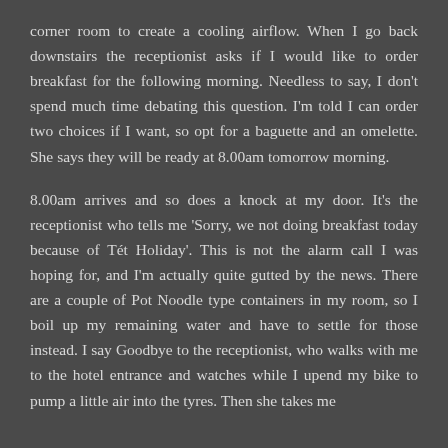corner room to create a cooling airflow. When I go back downstairs the receptionist asks if I would like to order breakfast for the following morning. Needless to say, I don't spend much time debating this question. I'm told I can order two choices if I want, so opt for a baguette and an omelette. She says they will be ready at 8.00am tomorrow morning.
8.00am arrives and so does a knock at my door. It's the receptionist who tells me 'Sorry, we not doing breakfast today because of Tét Holiday'. This is not the alarm call I was hoping for, and I'm actually quite gutted by the news. There are a couple of Pot Noodle type containers in my room, so I boil up my remaining water and have to settle for those instead. I say Goodbye to the receptionist, who walks with me to the hotel entrance and watches while I upend my bike to pump a little air into the tyres. Then she takes me